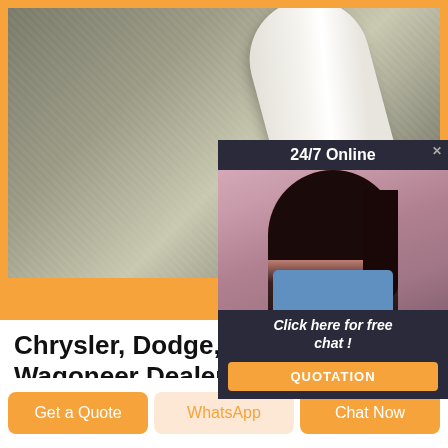[Figure (photo): Top photo showing carpet/flooring material with a white rolled carpet edge, set in an orange-bordered frame. A popup widget overlays the right side showing a customer service agent with headset and '24/7 Online' header, 'Click here for free chat!' text, and an orange QUOTATION button.]
Chrysler, Dodge, Jeep, Ram and Wagoneer Dealer Paramus NJ
Chrysler Jeep Dodge of Paramus is located at 4 West, Paramus, NJ 07652. You can call our Department at 5512378611, Service Department at 20148880000, or our Parts Department at 5512378732. Although Chrysler Jeep Dodge of Paramus in Paramus, New Jersey is not open 24 hours a day, seven days a week – our website is always ...
Get a Quote
WhatsApp
Chat Now